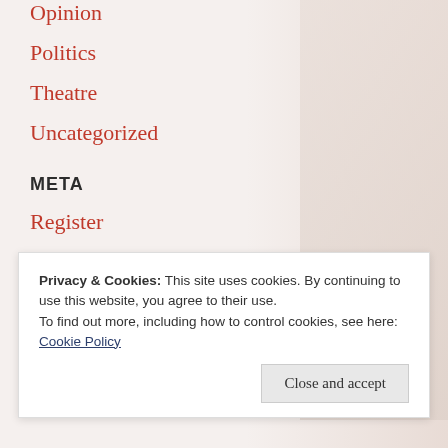Opinion
Politics
Theatre
Uncategorized
META
Register
Log in
Entries feed
Comments feed
WordPress.com
Privacy & Cookies: This site uses cookies. By continuing to use this website, you agree to their use.
To find out more, including how to control cookies, see here: Cookie Policy
Close and accept